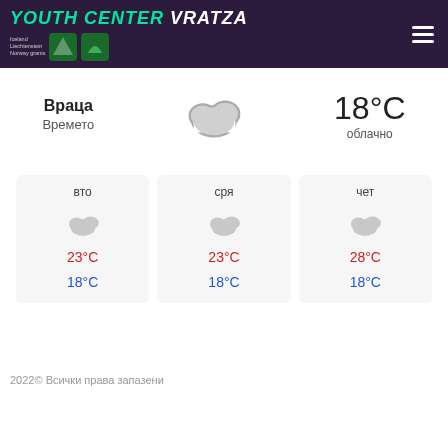YOUTH CENTER VRATZA
Враца Времето
[Figure (illustration): Cloud icon representing cloudy weather]
18°C облачно
вто 23°C 18°C
сря 23°C 18°C
чет 28°C 18°C
2022© Всички права запазени